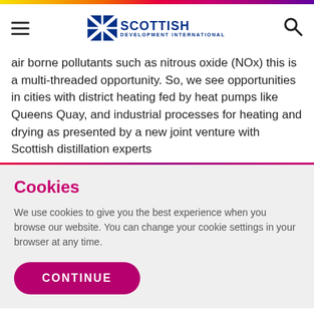Scottish Development International
air borne pollutants such as nitrous oxide (NOx) this is a multi-threaded opportunity. So, we see opportunities in cities with district heating fed by heat pumps like Queens Quay, and industrial processes for heating and drying as presented by a new joint venture with Scottish distillation experts
Cookies
We use cookies to give you the best experience when you browse our website. You can change your cookie settings in your browser at any time.
CONTINUE